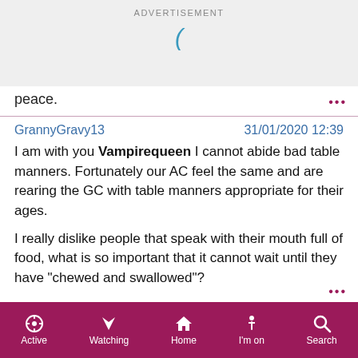[Figure (other): Advertisement banner with 'ADVERTISEMENT' label and a teal/blue parenthesis loading icon]
peace.
GrannyGravy13   31/01/2020 12:39

I am with you Vampirequeen I cannot abide bad table manners. Fortunately our AC feel the same and are rearing the GC with table manners appropriate for their ages.

I really dislike people that speak with their mouth full of food, what is so important that it cannot wait until they have "chewed and swallowed"?
[Figure (screenshot): Mobile app navigation bar with Active, Watching, Home, I'm on, Search icons on dark pink/maroon background]